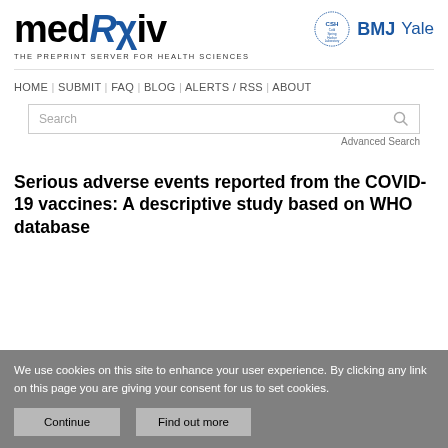[Figure (logo): medRxiv logo with blue styled R and chi characters, subtitle THE PREPRINT SERVER FOR HEALTH SCIENCES, alongside Cold Spring Harbor Laboratory (CSH circle logo), BMJ, and Yale partner logos]
HOME | SUBMIT | FAQ | BLOG | ALERTS / RSS | ABOUT
Serious adverse events reported from the COVID-19 vaccines: A descriptive study based on WHO database
We use cookies on this site to enhance your user experience. By clicking any link on this page you are giving your consent for us to set cookies.